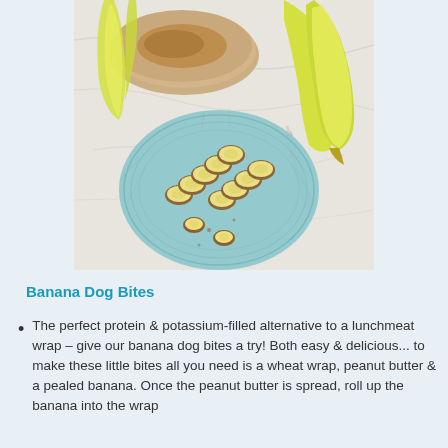[Figure (photo): Overhead photo of banana dog bites on a light blue ribbed plate, with peanut butter spread tortilla wraps and a peeled banana visible on a marble surface.]
Banana Dog Bites
The perfect protein & potassium-filled alternative to a lunchmeat wrap – give our banana dog bites a try! Both easy & delicious... to make these little bites all you need is a wheat wrap, peanut butter & a pealed banana. Once the peanut butter is spread, roll up the banana into the wrap